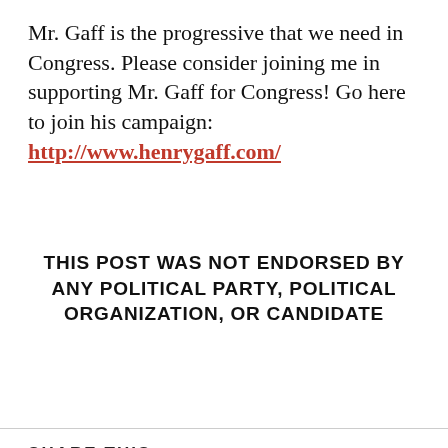Mr. Gaff is the progressive that we need in Congress. Please consider joining me in supporting Mr. Gaff for Congress! Go here to join his campaign: http://www.henrygaff.com/
THIS POST WAS NOT ENDORSED BY ANY POLITICAL PARTY, POLITICAL ORGANIZATION, OR CANDIDATE
SHARE THIS:
[Figure (screenshot): Social sharing buttons: Tweet (blue Twitter button), Post (dark Tumblr button), Save (red Pinterest button), and a close X button]
[Figure (infographic): DuckDuckGo advertisement: orange background with phone image, text 'Search, browse, and email with more privacy. All in One Free App', DuckDuckGo logo]